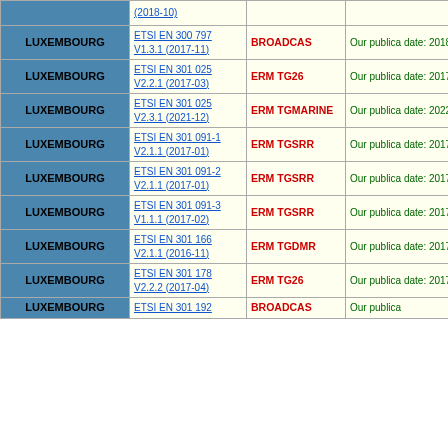| Country | Standard | TC | Publication |
| --- | --- | --- | --- |
| LUXEMBOURG | ETSI EN 300 797 V1.3.1 (2017-11) | BROADCAS | Our publica date: 2018- |
| LUXEMBOURG | ETSI EN 301 025 V2.2.1 (2017-03) | ERM TG26 | Our publica date: 2017- |
| LUXEMBOURG | ETSI EN 301 025 V2.3.1 (2021-12) | ERM TGMARINE | Our publica date: 2022- |
| LUXEMBOURG | ETSI EN 301 091-1 V2.1.1 (2017-01) | ERM TGSRR | Our publica date: 2017- |
| LUXEMBOURG | ETSI EN 301 091-2 V2.1.1 (2017-01) | ERM TGSRR | Our publica date: 2017- |
| LUXEMBOURG | ETSI EN 301 091-3 V1.1.1 (2017-02) | ERM TGSRR | Our publica date: 2017- |
| LUXEMBOURG | ETSI EN 301 166 V2.1.1 (2016-11) | ERM TGDMR | Our publica date: 2017- |
| LUXEMBOURG | ETSI EN 301 178 V2.2.2 (2017-04) | ERM TG26 | Our publica date: 2017- |
| LUXEMBOURG | ETSI EN 301 192 | BROADCAS | Our publica |